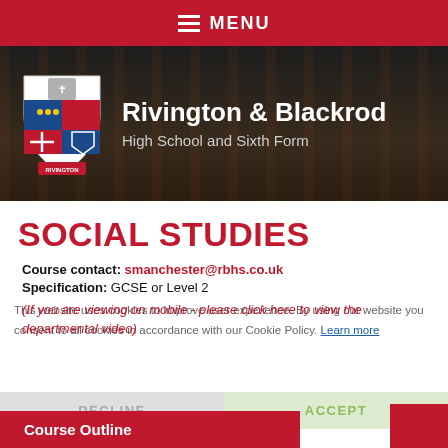MENU
[Figure (logo): Rivington & Blackrod High School and Sixth Form crest and name on dark background]
SOCIAL STUDIES
Course contact: smanchester@rbhs.co.uk
Specification: GCSE or Level 2
(If you are viewing on mobile - please click here to view the departmental video)
This website uses cookies to improve user experience. By using our website you consent to all cookies in accordance with our Cookie Policy. Learn more
DECLINE
ACCEPT
Course Outline